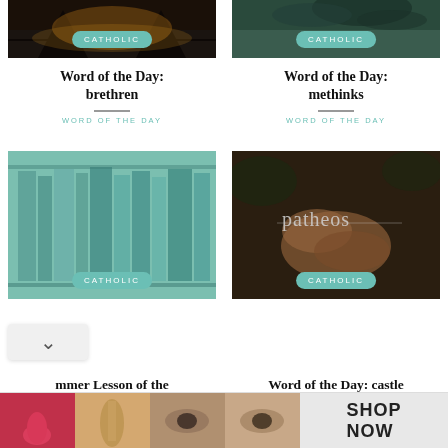[Figure (photo): Bridge at sunset, dark silhouette]
[Figure (photo): Palm tree top, green/teal tones]
Word of the Day: brethren
Word of the Day: methinks
WORD OF THE DAY
WORD OF THE DAY
[Figure (photo): Bookshelves with books, teal/mint tones]
[Figure (photo): Hands clasped together, Patheos logo overlay, dark background]
mmer Lesson of the
Word of the Day: castle
[Figure (photo): Ulta beauty advertisement banner with makeup/cosmetics imagery, SHOP NOW]